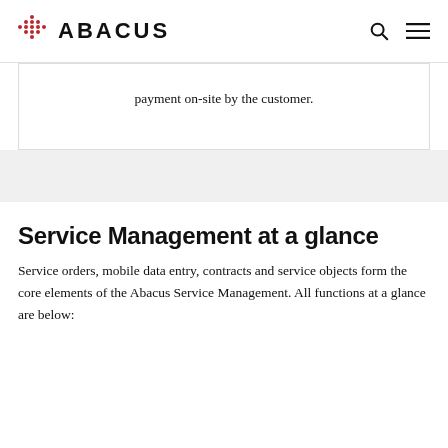ABACUS
payment on-site by the customer.
Service Management at a glance
Service orders, mobile data entry, contracts and service objects form the core elements of the Abacus Service Management. All functions at a glance are below: